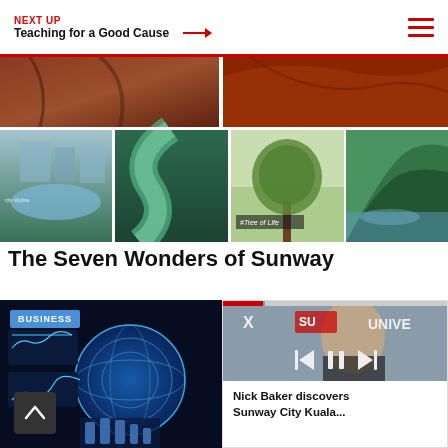NEXT UP / Teaching for a Good Cause
[Figure (photo): Collage of nature and city photos including aerial city view, winding river through mangroves, tall lone tree (Tree of Life), and lush green karst mountain landscape]
The Seven Wonders of Sunway
[Figure (photo): Business card with blue BUSINESS badge and AI/technology themed image with robotic hands and digital globe]
[Figure (photo): Video player mini card showing a man in front of a Sunway University sign, with playback controls and progress bar]
Nick Baker discovers Sunway City Kuala...